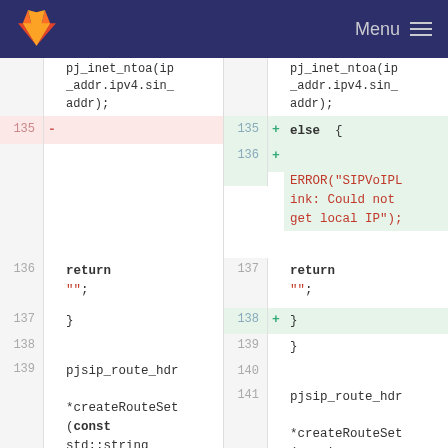GitLab Menu
[Figure (screenshot): Code diff view showing two sides of a file comparison. Left side (old) and right side (new) show line numbers and code changes. Removed line 135 on left (blank). Added lines 135-138 on right: else { ERROR("SIPVoIPLink: Could not get local IP"); }. Lines 136-139 show return ""; and closing braces. Lines 137-141 show pjsip_route_hdr *createRouteSet(const std::string &route, pj_pool_t]